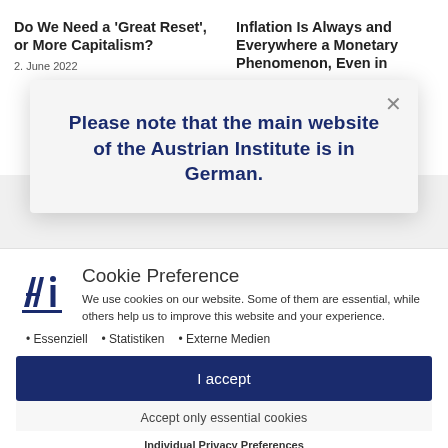Do We Need a ‘Great Reset’, or More Capitalism?
2. June 2022
Inflation Is Always and Everywhere a Monetary Phenomenon, Even in
[Figure (screenshot): Modal dialog with close button (x) and notice text: Please note that the main website of the Austrian Institute is in German.]
Cookie Preference
We use cookies on our website. Some of them are essential, while others help us to improve this website and your experience.
Essenziell
Statistiken
Externe Medien
I accept
Accept only essential cookies
Individual Privacy Preferences
Cookie Details | Privacy Policy | Imprint